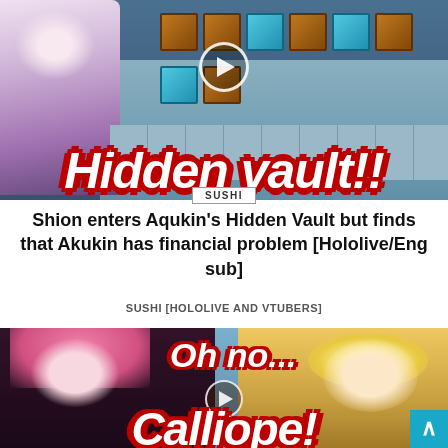[Figure (screenshot): YouTube video thumbnail showing anime character (Shion) on left with Minecraft chest room background. Bold red/white text overlay reads 'Hidden vault!!' with a SUSHI badge overlay.]
Shion enters Aqukin's Hidden Vault but finds that Akukin has financial problem [Hololive/Eng sub]
SUSHI [HOLOLIVE AND VTUBERS]
[Figure (screenshot): YouTube video thumbnail showing two anime characters (pink-haired Calliope Mori on left, blonde character on right) with 'Oh no...' text overlay and partial 'Calliope' text at bottom.]